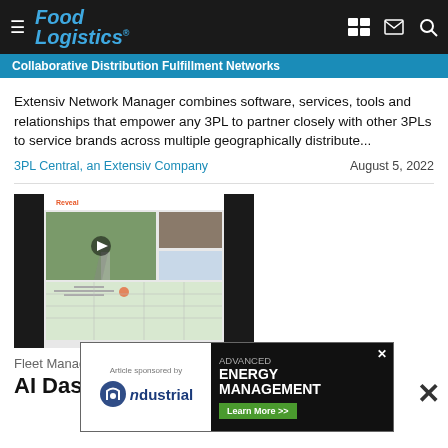Food Logistics
Collaborative Distribution Fulfillment Networks
Extensiv Network Manager combines software, services, tools and relationships that empower any 3PL to partner closely with other 3PLs to service brands across multiple geographically distribute...
3PL Central, an Extensiv Company
August 5, 2022
[Figure (screenshot): Screenshot of a fleet tracking/dashcam software interface called Reveal, showing a road view from a dashcam and a map overlay, with dark sidebars.]
Fleet Management
AI Dash...
[Figure (screenshot): Advertisement banner: Article sponsored by ndustrial - ADVANCED ENERGY MANAGEMENT Learn More >>]